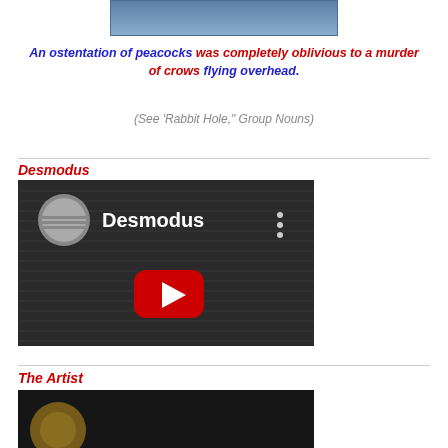[Figure (photo): Partial cropped photo at top of page, appears to show outdoor scene]
An ostentation of peacocks was completely oblivious to a murder of crows flying overhead.
(See 'Rabbit Hole," Group Nouns)
Desmodus
[Figure (screenshot): YouTube video thumbnail for 'Desmodus' showing dark/grayscale background with YouTube play button]
The Artist
[Figure (photo): Partial photo at bottom of page, partially visible]